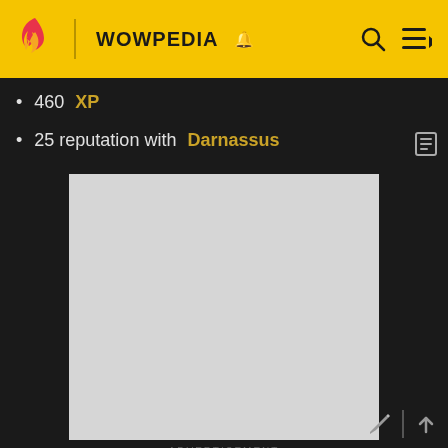WOWPEDIA
460 XP
25 reputation with Darnassus
[Figure (other): Advertisement placeholder — large light gray rectangle with ADVERTISEMENT label below]
Progression